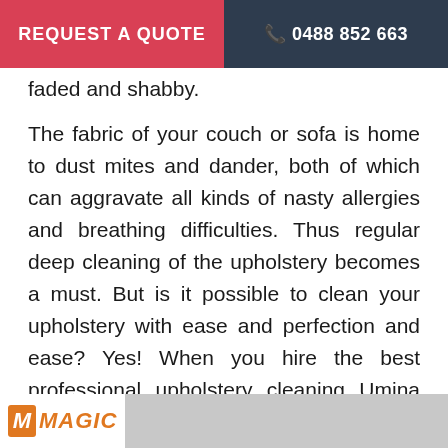REQUEST A QUOTE   📞 0488 852 663
faded and shabby.
The fabric of your couch or sofa is home to dust mites and dander, both of which can aggravate all kinds of nasty allergies and breathing difficulties. Thus regular deep cleaning of the upholstery becomes a must. But is it possible to clean your upholstery with ease and perfection and ease? Yes! When you hire the best professional upholstery cleaning Umina Beach company to ward off stains, dust and grime from your upholstery, it's possible as you just need to sit and relax with a cup of coffee while our professional upholstery cleaners at Magic Cleaning Services will take care of the rest. So get going to connect with us now!
[Figure (logo): Magic Cleaning Services logo at bottom of page with orange M icon and partial image of cleaning]